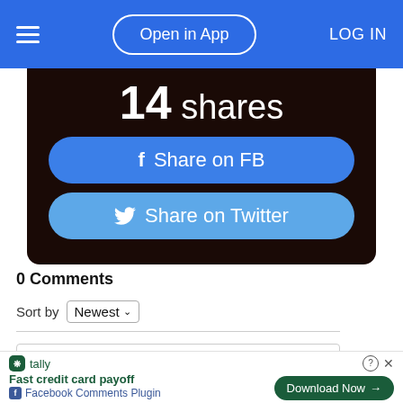Open in App  LOG IN
[Figure (screenshot): Dark background social share panel showing '14 shares', a blue 'Share on FB' button with Facebook icon, and a lighter blue 'Share on Twitter' button with Twitter bird icon]
0 Comments
Sort by Newest
Add a comment...
[Figure (screenshot): Bottom advertisement bar with Tally logo, 'Fast credit card payoff' text, Facebook Comments Plugin label, a help/close icon row, and a green 'Download Now' button]